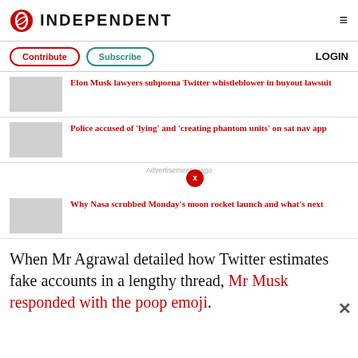INDEPENDENT
Contribute
Subscribe
LOGIN
Elon Musk lawyers subpoena Twitter whistleblower in buyout lawsuit
Police accused of 'lying' and 'creating phantom units' on sat nav app
Advertisement - jago
Why Nasa scrubbed Monday's moon rocket launch and what's next
When Mr Agrawal detailed how Twitter estimates fake accounts in a lengthy thread, Mr Musk responded with the poop emoji.